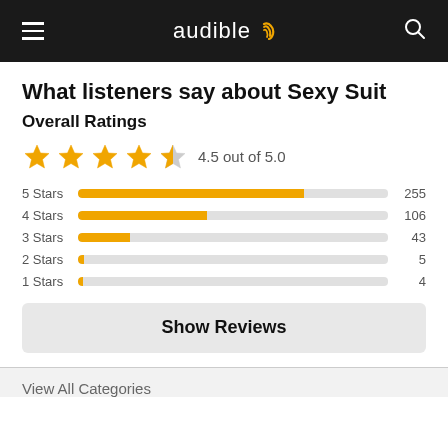audible
What listeners say about Sexy Suit
Overall Ratings
[Figure (other): 4.5 out of 5.0 star rating shown with 4 full stars and 1 half star]
[Figure (bar-chart): Star rating distribution]
Show Reviews
View All Categories